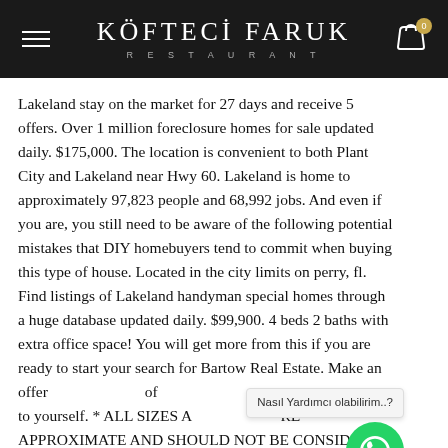KÖFTECİ FARUK RESTAURANT
Lakeland stay on the market for 27 days and receive 5 offers. Over 1 million foreclosure homes for sale updated daily. $175,000. The location is convenient to both Plant City and Lakeland near Hwy 60. Lakeland is home to approximately 97,823 people and 68,992 jobs. And even if you are, you still need to be aware of the following potential mistakes that DIY homebuyers tend to commit when buying this type of house. Located in the city limits on perry, fl. Find listings of Lakeland handyman special homes through a huge database updated daily. $99,900. 4 beds 2 baths with extra office space! You will get more from this if you are ready to start your search for Bartow Real Estate. Make an offer of to yourself. * ALL SIZES A RE APPROXIMATE AND SHOULD NOT BE CONSIDERED